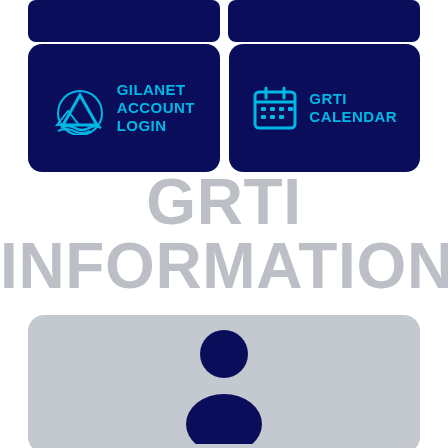[Figure (infographic): Two dark navy blue button cards side by side: left shows GilaNet logo with mountain/wave icon and text 'GILANET ACCOUNT LOGIN' in cyan; right shows a calendar icon and text 'GRTI CALENDAR' in cyan]
GRTI INFORMATION
[Figure (illustration): Grey rounded rectangle card containing a dark navy blue silhouette person/user profile icon]